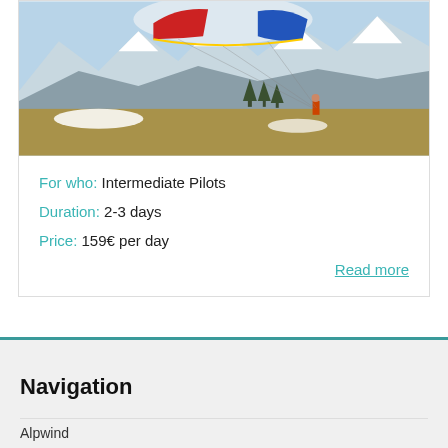[Figure (photo): Paraglider with colorful canopy (red, white, blue) against snowy mountain backdrop with alpine meadow, person in orange standing nearby]
For who:  Intermediate Pilots
Duration:  2-3 days
Price:  159€ per day
Read more
Navigation
Alpwind